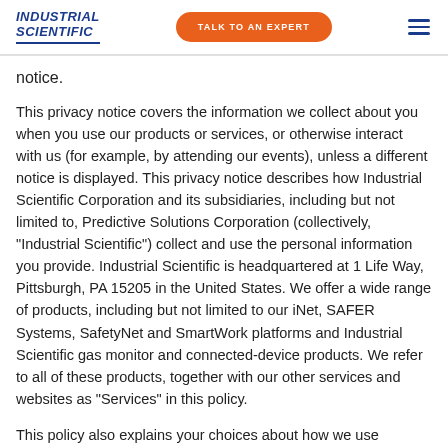INDUSTRIAL SCIENTIFIC | TALK TO AN EXPERT | [menu]
notice.
This privacy notice covers the information we collect about you when you use our products or services, or otherwise interact with us (for example, by attending our events), unless a different notice is displayed. This privacy notice describes how Industrial Scientific Corporation and its subsidiaries, including but not limited to, Predictive Solutions Corporation (collectively, "Industrial Scientific") collect and use the personal information you provide. Industrial Scientific is headquartered at 1 Life Way, Pittsburgh, PA 15205 in the United States. We offer a wide range of products, including but not limited to our iNet, SAFER Systems, SafetyNet and SmartWork platforms and Industrial Scientific gas monitor and connected-device products. We refer to all of these products, together with our other services and websites as "Services" in this policy.
This policy also explains your choices about how we use